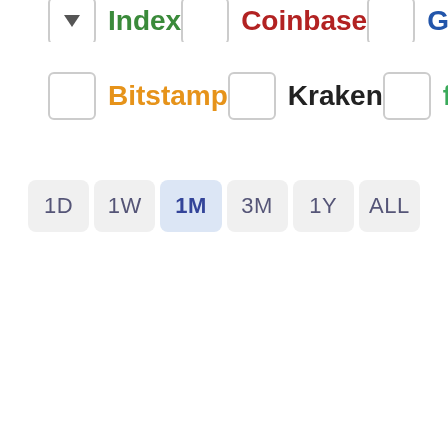[Figure (screenshot): Partial top row showing exchange filter checkboxes for Index (green), Coinbase (red), Gemini (blue) — cropped at top of page]
Bitstamp
Kraken
ftx
1D
1W
1M
3M
1Y
ALL